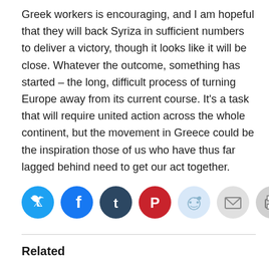Greek workers is encouraging, and I am hopeful that they will back Syriza in sufficient numbers to deliver a victory, though it looks like it will be close. Whatever the outcome, something has started – the long, difficult process of turning Europe away from its current course. It's a task that will require united action across the whole continent, but the movement in Greece could be the inspiration those of us who have thus far lagged behind need to get our act together.
[Figure (infographic): A row of social media sharing icon buttons: Twitter (blue), Facebook (blue), Tumblr (dark blue), Pinterest (red), Reddit (light blue), Email (gray), Print (gray)]
Related